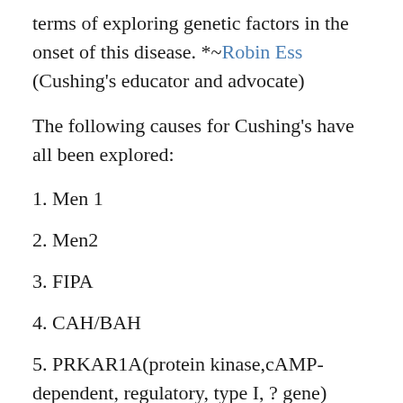terms of exploring genetic factors in the onset of this disease. *~Robin Ess (Cushing's educator and advocate)
The following causes for Cushing's have all been explored:
1. Men 1
2. Men2
3. FIPA
4. CAH/BAH
5. PRKAR1A(protein kinase, cAMP-dependent, regulatory, type I, ? gene)